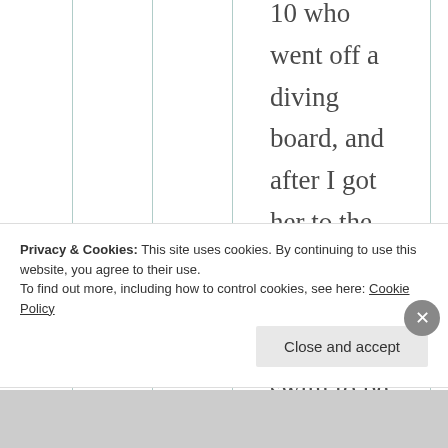10 who went off a diving board, and after I got her to the side, said, “Oh, you have to swim to be able to do
Privacy & Cookies: This site uses cookies. By continuing to use this website, you agree to their use.
To find out more, including how to control cookies, see here: Cookie Policy